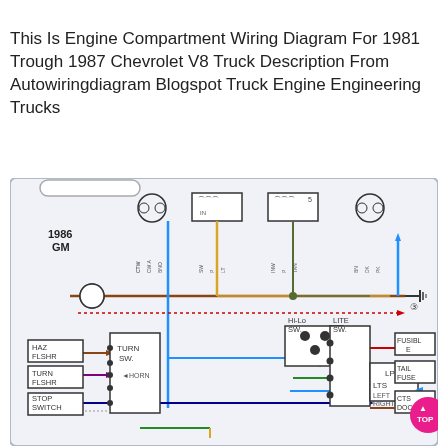This Is Engine Compartment Wiring Diagram For 1981 Trough 1987 Chevrolet V8 Truck Description From Autowiringdiagram Blogspot Truck Engine Engineering Trucks
[Figure (schematic): 1986 GM engine compartment wiring diagram showing electrical connections between HAZ FLSHR, TURN FLSHR, STOP SWITCH, HORN, Hi-Lo SW., LITE SW., LP LTS, FUSIBL E, TAIL FUSE, CTS DOOR components with colored wires (blue, brown, yellow/gold, green, red, orange, purple) and a dotted red line.]